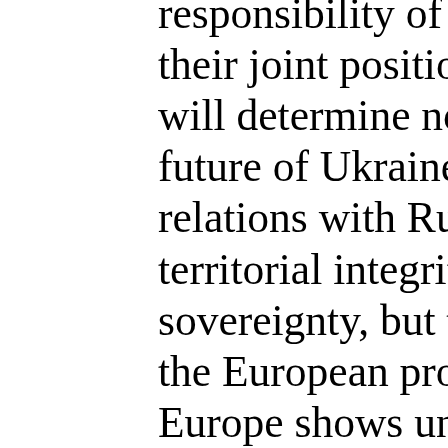responsibility of the Europeans, their joint position in this issue, will determine not just the future of Ukraine and our relations with Russia, our territorial integrity and sovereignty, but the future of the European project. Unless Europe shows unity today, it will probably ruin the mere basics on which it is built. I believe that the wisdom and realization of how necessary it is to have a joint position will prevail after all. Because Russia is not even hinting today that it is willing to stick to the commitments under Minsk. It does not show that it is ready to return to respecting international law. We've already seen the position of G7. I am convinced that, despite all debates caused by various forces, including those inspired from Russia, it the